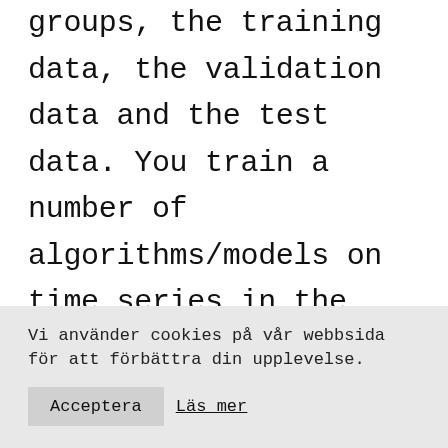groups, the training data, the validation data and the test data. You train a number of algorithms/models on time series in the training data, observe which algorithm performs the best on the validation data and choose that one. Finally, you use the test data to determine the performance of the chosen algorithm.
Vi använder cookies på vår webbsida för att förbättra din upplevelse.
Acceptera
Läs mer